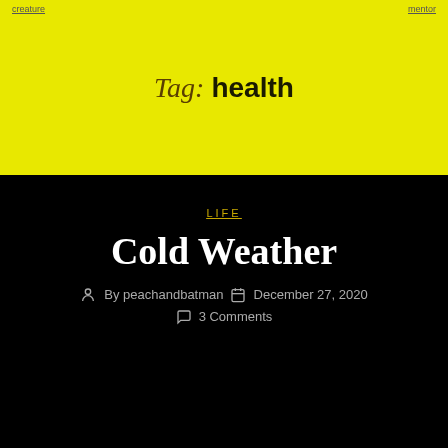creature  |  mentor
Tag: health
LIFE
Cold Weather
By peachandbatman  December 27, 2020  3 Comments
Batman says:
WHY??